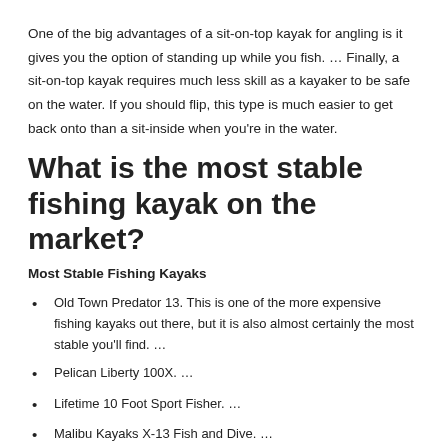One of the big advantages of a sit-on-top kayak for angling is it gives you the option of standing up while you fish. … Finally, a sit-on-top kayak requires much less skill as a kayaker to be safe on the water. If you should flip, this type is much easier to get back onto than a sit-inside when you're in the water.
What is the most stable fishing kayak on the market?
Most Stable Fishing Kayaks
Old Town Predator 13. This is one of the more expensive fishing kayaks out there, but it is also almost certainly the most stable you'll find. …
Pelican Liberty 100X. …
Lifetime 10 Foot Sport Fisher. …
Malibu Kayaks X-13 Fish and Dive. …